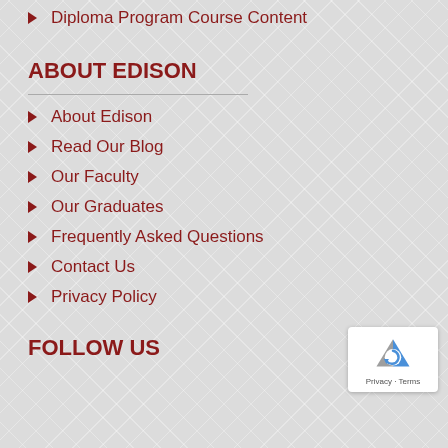Diploma Program Course Content
ABOUT EDISON
About Edison
Read Our Blog
Our Faculty
Our Graduates
Frequently Asked Questions
Contact Us
Privacy Policy
[Figure (logo): Google reCAPTCHA badge with circular arrow icon and Privacy · Terms text]
FOLLOW US